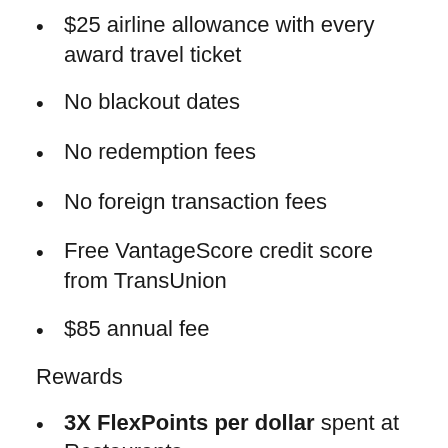$25 airline allowance with every award travel ticket
No blackout dates
No redemption fees
No foreign transaction fees
Free VantageScore credit score from TransUnion
$85 annual fee
Rewards
3X FlexPoints per dollar spent at Restaurants
2X FlexPoints per dollar spent at: